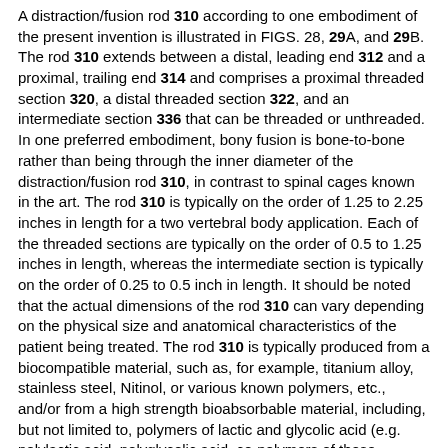A distraction/fusion rod 310 according to one embodiment of the present invention is illustrated in FIGS. 28, 29A, and 29B. The rod 310 extends between a distal, leading end 312 and a proximal, trailing end 314 and comprises a proximal threaded section 320, a distal threaded section 322, and an intermediate section 336 that can be threaded or unthreaded. In one preferred embodiment, bony fusion is bone-to-bone rather than being through the inner diameter of the distraction/fusion rod 310, in contrast to spinal cages known in the art. The rod 310 is typically on the order of 1.25 to 2.25 inches in length for a two vertebral body application. Each of the threaded sections are typically on the order of 0.5 to 1.25 inches in length, whereas the intermediate section is typically on the order of 0.25 to 0.5 inch in length. It should be noted that the actual dimensions of the rod 310 can vary depending on the physical size and anatomical characteristics of the patient being treated. The rod 310 is typically produced from a biocompatible material, such as, for example, titanium alloy, stainless steel, Nitinol, or various known polymers, etc., and/or from a high strength bioabsorbable material, including, but not limited to, polymers of lactic and glycolic acid (e.g. polylactic acid, polyglycolic acid, co-polymers of these materials, bone stock, etc.).
The threaded sections 320, 322 of the rod 310 comprise coextensive cylindrical root portions 324, 326 and screw threads 328, 330. The intermediate section 336 comprises a coextensive cylindrical root portion 325 that may be continuous with root portion 326 and that may have the same outer diameter as root portion 326. In one